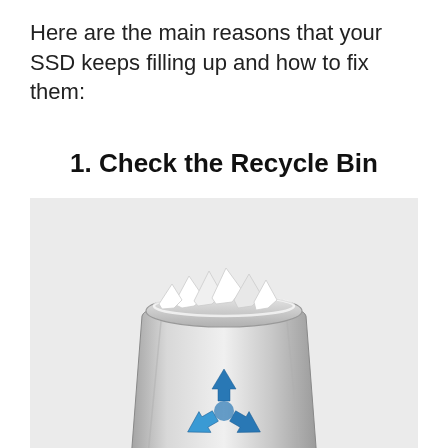Here are the main reasons that your SSD keeps filling up and how to fix them:
1. Check the Recycle Bin
[Figure (illustration): A Windows Recycle Bin icon filled with crumpled paper documents, displayed on a light grey background. The bin is a metallic silver cylindrical trash can with the blue recycling arrows symbol on the front. The icon is partially cut off at the bottom, showing a reflection beneath.]